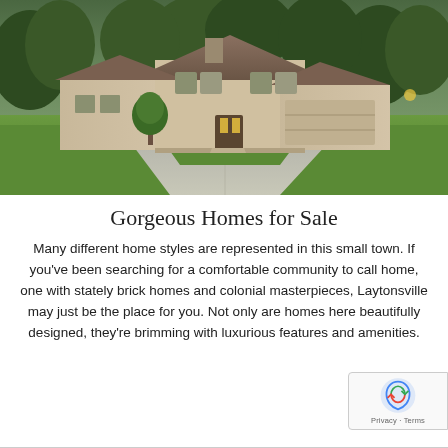[Figure (photo): Exterior photo of a large stone brick house with a curved driveway, green lawn, and trees in the background at dusk]
Gorgeous Homes for Sale
Many different home styles are represented in this small town. If you've been searching for a comfortable community to call home, one with stately brick homes and colonial masterpieces, Laytonsville may just be the place for you. Not only are homes here beautifully designed, they're brimming with luxurious features and amenities.